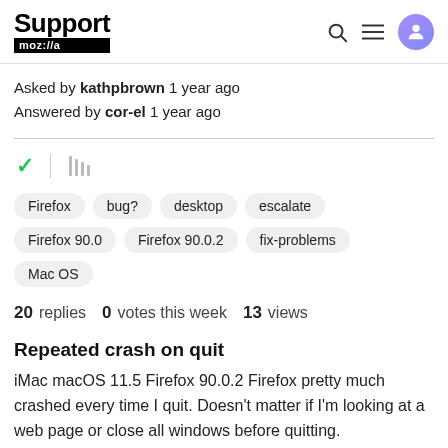Support mozilla // a
Asked by kathpbrown 1 year ago
Answered by cor-el 1 year ago
Tags: Firefox, bug?, desktop, escalate, Firefox 90.0, Firefox 90.0.2, fix-problems, Mac OS
20 replies  0 votes this week  13 views
Repeated crash on quit
iMac macOS 11.5 Firefox 90.0.2 Firefox pretty much crashed every time I quit. Doesn't matter if I'm looking at a web page or close all windows before quitting.